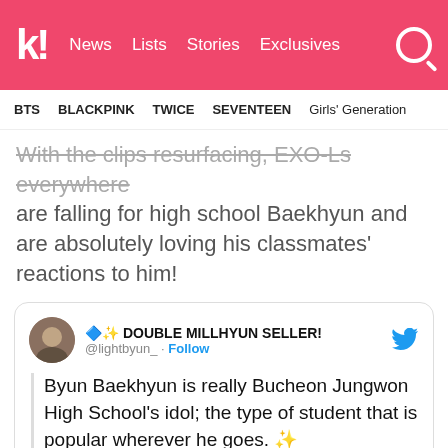k! News Lists Stories Exclusives
BTS  BLACKPINK  TWICE  SEVENTEEN  Girls' Generation
With the clips resurfacing, EXO-Ls everywhere are falling for high school Baekhyun and are absolutely loving his classmates' reactions to him!
🔷✨ DOUBLE MILLHYUN SELLER! @lightbyun_ · Follow
Byun Baekhyun is really Bucheon Jungwon High School's idol; the type of student that is popular wherever he goes. ✨

(That predebut fanchant, btw!)